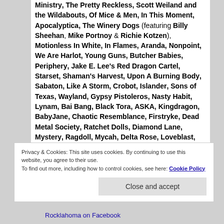Ministry, The Pretty Reckless, Scott Weiland and the Wildabouts, Of Mice & Men, In This Moment, Apocalyptica, The Winery Dogs (featuring Billy Sheehan, Mike Portnoy & Richie Kotzen), Motionless In White, In Flames, Aranda, Nonpoint, We Are Harlot, Young Guns, Butcher Babies, Periphery, Jake E. Lee's Red Dragon Cartel, Starset, Shaman's Harvest, Upon A Burning Body, Sabaton, Like A Storm, Crobot, Islander, Sons of Texas, Wayland, Gypsy Pistoleros, Nasty Habit, Lynam, Bai Bang, Black Tora, ASKA, Kingdragon, BabyJane, Chaotic Resemblance, Firstryke, Dead Metal Society, Ratchet Dolls, Diamond Lane, Mystery, Ragdoll, Mycah, Delta Rose, Loveblast, Ruff Justice, Warlock Texas, Mach22, Dellacoma,
Privacy & Cookies: This site uses cookies. By continuing to use this website, you agree to their use. To find out more, including how to control cookies, see here: Cookie Policy
Rocklahoma on Facebook